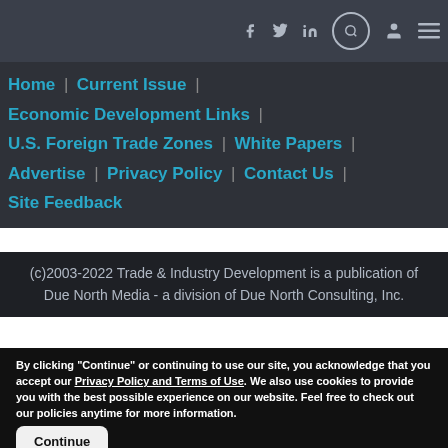[Figure (screenshot): Top navigation bar with social media icons (Facebook, Twitter, LinkedIn), a search icon in a circle, a user profile icon, and a hamburger menu icon on a dark gray background.]
Home | Current Issue |
Economic Development Links |
U.S. Foreign Trade Zones | White Papers |
Advertise | Privacy Policy | Contact Us |
Site Feedback
(c)2003-2022 Trade & Industry Development is a publication of Due North Media - a division of Due North Consulting, Inc.
By clicking "Continue" or continuing to use our site, you acknowledge that you accept our Privacy Policy and Terms of Use. We also use cookies to provide you with the best possible experience on our website. Feel free to check out our policies anytime for more information.